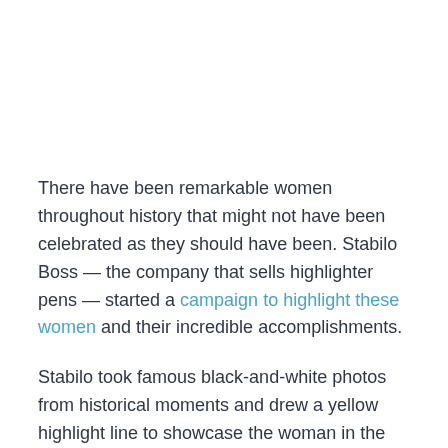There have been remarkable women throughout history that might not have been celebrated as they should have been. Stabilo Boss — the company that sells highlighter pens — started a campaign to highlight these women and their incredible accomplishments.
Stabilo took famous black-and-white photos from historical moments and drew a yellow highlight line to showcase the woman in the photo that made it all happen. The Boss PR campaign highlighted women like Katharine Johnson, the NASA mathematician responsible for the calculations that sent Apollo 11 to the moon. Other examples include Nobel Prize winner Lise Meitner ando